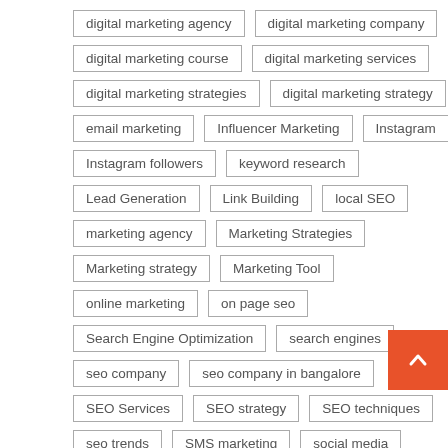digital marketing agency
digital marketing company
digital marketing course
digital marketing services
digital marketing strategies
digital marketing strategy
email marketing
Influencer Marketing
Instagram
Instagram followers
keyword research
Lead Generation
Link Building
local SEO
marketing agency
Marketing Strategies
Marketing strategy
Marketing Tool
online marketing
on page seo
Search Engine Optimization
search engines
seo company
seo company in bangalore
SEO Services
SEO strategy
SEO techniques
seo trends
SMS marketing
social media